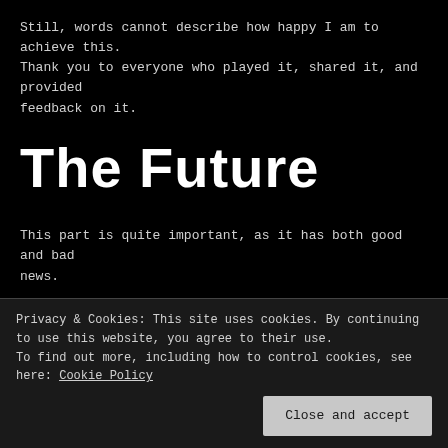Still, words cannot describe how happy I am to achieve this. Thank you to everyone who played it, shared it, and provided feedback on it.
The Future
This part is quite important, as it has both good and bad news.
I'll give the bad news first, following from Gemstone Keeper on the Nintendo Switch, I started working on a new big
Privacy & Cookies: This site uses cookies. By continuing to use this website, you agree to their use. To find out more, including how to control cookies, see here: Cookie Policy
Close and accept